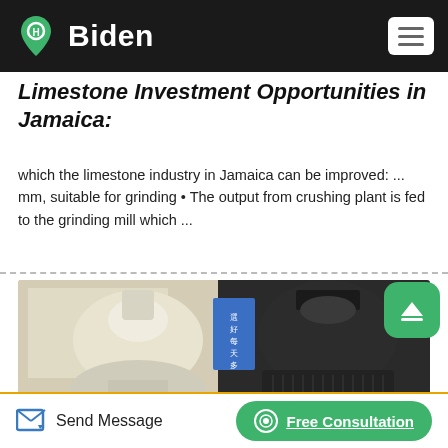Biden
Limestone Investment Opportunities in Jamaica:
which the limestone industry in Jamaica can be improved: ... mm, suitable for grinding • The output from crushing plant is fed to the grinding mill which ...
[Figure (photo): Photo of industrial grinding mill equipment — a white/cream colored mill on the left and a dark/black mill on the right, with a blue sign in the background with Chinese characters]
Send Message   Free Consultation